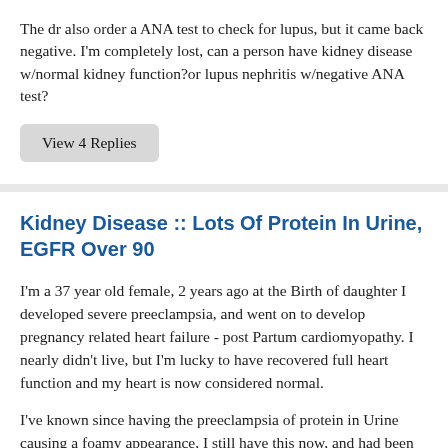The dr also order a ANA test to check for lupus, but it came back negative. I'm completely lost, can a person have kidney disease w/normal kidney function?or lupus nephritis w/negative ANA test?
View 4 Replies
Kidney Disease :: Lots Of Protein In Urine, EGFR Over 90
I'm a 37 year old female, 2 years ago at the Birth of daughter I developed severe preeclampsia, and went on to develop pregnancy related heart failure - post Partum cardiomyopathy. I nearly didn't live, but I'm lucky to have recovered full heart function and my heart is now considered normal.
I've known since having the preeclampsia of protein in Urine causing a foamy appearance, I still have this now, and had been testing my own